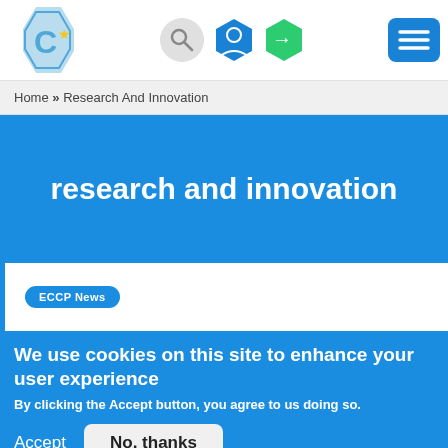[Figure (logo): ECCP website navigation bar with logo (hexagonal C with star), search icon, user icon, login icon, and hamburger menu button]
Home » Research And Innovation
research and innovation
ECCP News
We use cookies on this site to enhance your user experience
By clicking the Accept button, you agree to us doing so.
Accept   No, thanks